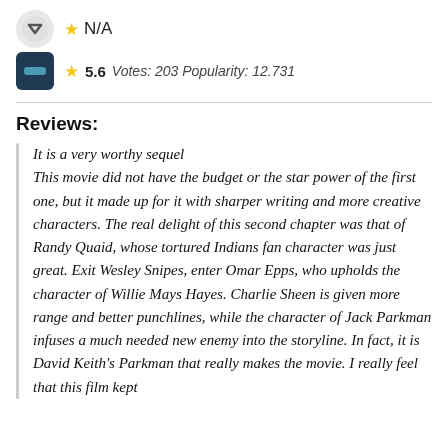[Figure (logo): Circular logo icon for a movie/review website]
N/A
[Figure (logo): Dark blue square logo icon with teal pill/dash shape]
5.6 Votes: 203 Popularity: 12.731
Reviews:
It is a very worthy sequel This movie did not have the budget or the star power of the first one, but it made up for it with sharper writing and more creative characters. The real delight of this second chapter was that of Randy Quaid, whose tortured Indians fan character was just great. Exit Wesley Snipes, enter Omar Epps, who upholds the character of Willie Mays Hayes. Charlie Sheen is given more range and better punchlines, while the character of Jack Parkman infuses a much needed new enemy into the storyline. In fact, it is David Keith's Parkman that really makes the movie. I really feel that this film kept